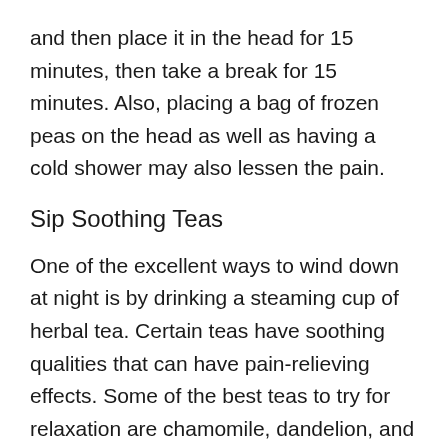and then place it in the head for 15 minutes, then take a break for 15 minutes. Also, placing a bag of frozen peas on the head as well as having a cold shower may also lessen the pain.
Sip Soothing Teas
One of the excellent ways to wind down at night is by drinking a steaming cup of herbal tea. Certain teas have soothing qualities that can have pain-relieving effects. Some of the best teas to try for relaxation are chamomile, dandelion, and ginger tea.
Drink More Water